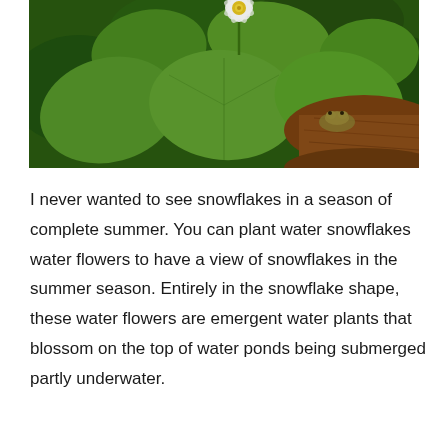[Figure (photo): A photograph of water snowflake plants (Nymphoides) with large round green lily pads floating on water. A single white flower with delicate fringed petals and a yellow center rises above the leaves. A frog or small amphibian is visible resting on a brown log or rock on the right side of the image.]
I never wanted to see snowflakes in a season of complete summer. You can plant water snowflakes water flowers to have a view of snowflakes in the summer season. Entirely in the snowflake shape, these water flowers are emergent water plants that blossom on the top of water ponds being submerged partly underwater.